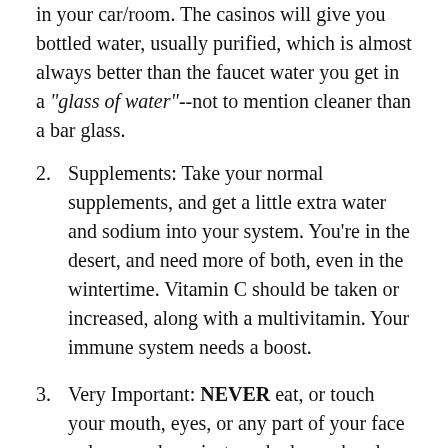in your car/room. The casinos will give you bottled water, usually purified, which is almost always better than the faucet water you get in a "glass of water"--not to mention cleaner than a bar glass.
2. Supplements: Take your normal supplements, and get a little extra water and sodium into your system. You're in the desert, and need more of both, even in the wintertime. Vitamin C should be taken or increased, along with a multivitamin. Your immune system needs a boost.
3. Very Important: NEVER eat, or touch your mouth, eyes, or any part of your face unless you have just washed your hands, or wiped them really well with an alcohol-based hand sanitizer. Shaking hands, grabbing cards, chips, money, escalators, almost everything you do exposes you to potential infection. Doing a "fist bump" is acceptable culture-